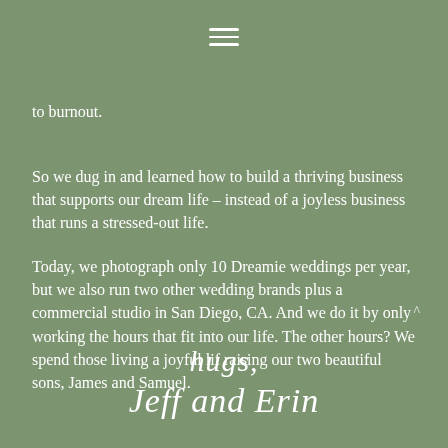[Figure (other): Hamburger menu icon (three horizontal white lines) centered at top of page]
to burnout.
So we dug in and learned how to build a thriving business that supports our dream life – instead of a joyless business that runs a stressed-out life.
Today, we photograph only 10 Dreamie weddings per year, but we also run two other wedding brands plus a commercial studio in San Diego, CA. And we do it by only working the hours that fit into our life. The other hours? We spend those living a joyful lif raising our two beautiful sons, James and Samuel.
hugs,
Jeff and Erin